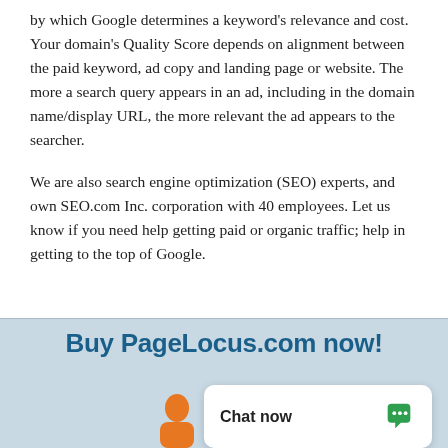by which Google determines a keyword's relevance and cost. Your domain's Quality Score depends on alignment between the paid keyword, ad copy and landing page or website. The more a search query appears in an ad, including in the domain name/display URL, the more relevant the ad appears to the searcher.
We are also search engine optimization (SEO) experts, and own SEO.com Inc. corporation with 40 employees. Let us know if you need help getting paid or organic traffic; help in getting to the top of Google.
Buy PageLocus.com now!
[Figure (illustration): Orange person/agent icon at bottom left of chat widget area]
Chat now